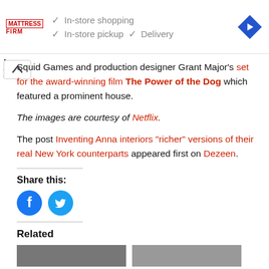[Figure (screenshot): Mattress Firm advertisement banner with checkmarks for In-store shopping, In-store pickup, Delivery, and a blue navigation diamond icon]
Squid Games and production designer Grant Major's set for the award-winning film The Power of the Dog which featured a prominent house.
The images are courtesy of Netflix.
The post Inventing Anna interiors "richer" versions of their real New York counterparts appeared first on Dezeen.
Share this:
[Figure (infographic): Facebook and Twitter share circle icon buttons]
Related